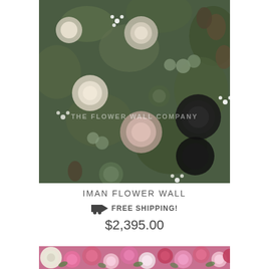[Figure (photo): Close-up photo of a flower wall arrangement featuring dark black roses, white roses, green eucalyptus leaves, pine cones, and various white wildflowers. A watermark reads 'THE FLOWER WALL COMPANY' across the middle.]
IMAN FLOWER WALL
FREE SHIPPING!
$2,395.00
[Figure (photo): Partial view of a second flower wall with pink, white, and red roses at the bottom of the page.]